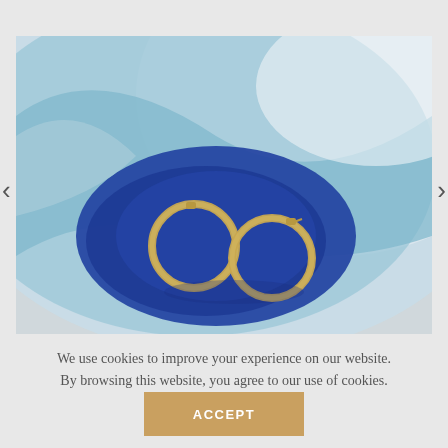[Figure (photo): A ceramic dish with a blue and teal glaze containing two gold hoop earrings resting on the deep blue center. Navigation arrows visible on left and right sides of the image carousel.]
We use cookies to improve your experience on our website. By browsing this website, you agree to our use of cookies.
ACCEPT